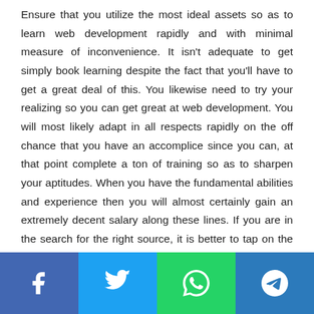Ensure that you utilize the most ideal assets so as to learn web development rapidly and with minimal measure of inconvenience. It isn't adequate to get simply book learning despite the fact that you'll have to get a great deal of this. You likewise need to try your realizing so you can get great at web development. You will most likely adapt in all respects rapidly on the off chance that you have an accomplice since you can, at that point complete a ton of training so as to sharpen your aptitudes. When you have the fundamental abilities and experience then you will almost certainly gain an extremely decent salary along these lines. If you are in the search for the right source, it is better to tap on the link and start learning over there.
[Figure (other): Social share bar with four buttons: Facebook (blue), Twitter (light blue), WhatsApp (green), Telegram (dark blue)]